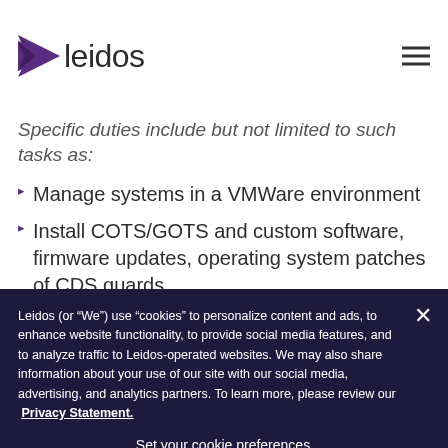leidos
Specific duties include but not limited to such tasks as:
Manage systems in a VMWare environment
Install COTS/GOTS and custom software, firmware updates, operating system patches of CDS guards,
Leidos (or “We”) use “cookies” to personalize content and ads, to enhance website functionality, to provide social media features, and to analyze traffic to Leidos-operated websites. We may also share information about your use of our site with our social media, advertising, and analytics partners. To learn more, please review our Privacy Statement.
Set your cookie preferences